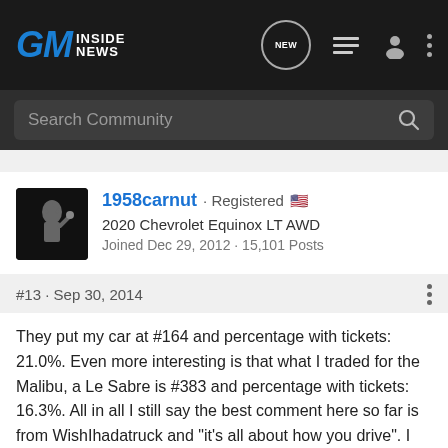GM Inside News
Search Community
1958carnut · Registered 🇺🇸
2020 Chevrolet Equinox LT AWD
Joined Dec 29, 2012 · 15,101 Posts
#13 · Sep 30, 2014
They put my car at #164 and percentage with tickets: 21.0%. Even more interesting is that what I traded for the Malibu, a Le Sabre is #383 and percentage with tickets: 16.3%. All in all I still say the best comment here so far is from WishIhadatruck and "it's all about how you drive". I fully agree with that, 'cause it's been 6 or 8 yrs. since I've had a ticket(knock on wood). 🙂